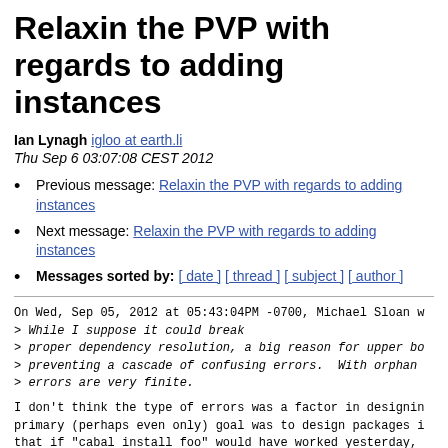Relaxin the PVP with regards to adding instances
Ian Lynagh igloo at earth.li
Thu Sep 6 03:07:08 CEST 2012
Previous message: Relaxin the PVP with regards to adding instances
Next message: Relaxin the PVP with regards to adding instances
Messages sorted by: [ date ] [ thread ] [ subject ] [ author ]
On Wed, Sep 05, 2012 at 05:43:04PM -0700, Michael Sloan w
> While I suppose it could break
> proper dependency resolution, a big reason for upper bo
> preventing a cascade of confusing errors.  With orphan
> errors are very finite.
I don't think the type of errors was a factor in designin primary (perhaps even only) goal was to design packages i that if "cabal install foo" would have worked yesterday, also work today.
That means that if foo depends on bar, and there is a su